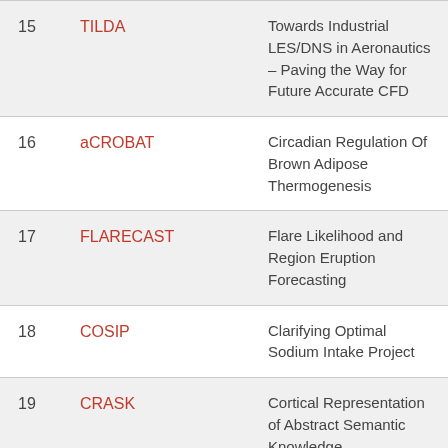| # | Acronym | Title |
| --- | --- | --- |
| 15 | TILDA | Towards Industrial LES/DNS in Aeronautics – Paving the Way for Future Accurate CFD |
| 16 | aCROBAT | Circadian Regulation Of Brown Adipose Thermogenesis |
| 17 | FLARECAST | Flare Likelihood and Region Eruption Forecasting |
| 18 | COSIP | Clarifying Optimal Sodium Intake Project |
| 19 | CRASK | Cortical Representation of Abstract Semantic Knowledge |
| 20 | SolarPredict | SolarPredict: An advanced predictive |